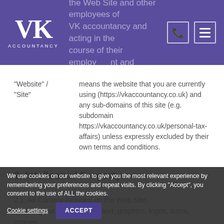VK Accountancy - header with logo and navigation icons
"Website" / "Site" — means the website that you are currently using (https://vkaccountancy.co.uk) and any sub-domains of this site (e.g. subdomain https://vkaccountancy.co.uk/personal-tax-affairs) unless expressly excluded by their own terms and conditions.
2. Intellectual Property:
2.1  All Content included on the Web Site, including but not limited to, text, graphics, logos, icons, images, limited to, text, graphics, logos, icons, images, and video clips, data compilations,
We use cookies on our website to give you the most relevant experience by remembering your preferences and repeat visits. By clicking "Accept", you consent to the use of ALL the cookies.